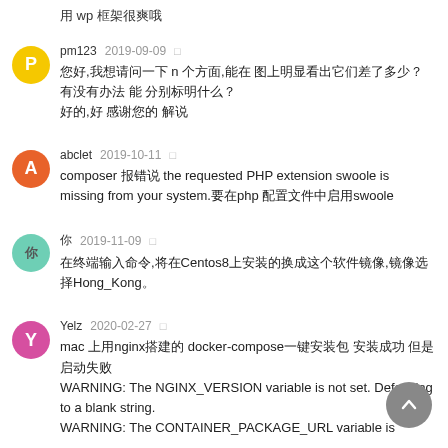用 wp 框架很爽哦
pm123  2019-09-09
您好,我想请问一下 n 个方面,能在 图上明显看出它们差了多少？
有没有办法 能 分别标明什么？
好的,好 感谢您的 解说
abclet  2019-10-11
composer 报错说 the requested PHP extension swoole is missing from your system.要在php 配置文件中启用swoole
你 2019-11-09
在终端输入命令,将在Centos8上安装的换成这个软件镜像,镜像选择Hong_Kong。
Yelz  2020-02-27
mac 上用nginx搭建的 docker-compose一键安装包 安装成功 但是 启动失败
WARNING: The NGINX_VERSION variable is not set. Defaulting to a blank string.
WARNING: The CONTAINER_PACKAGE_URL variable is